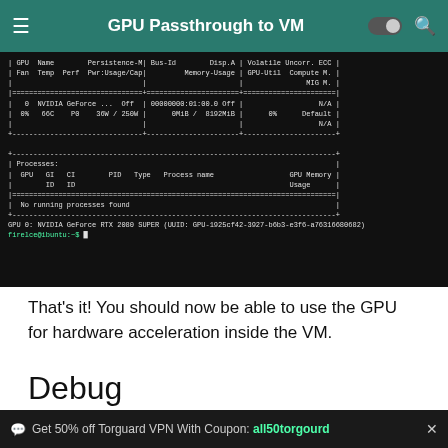GPU Passthrough to VM
[Figure (screenshot): Terminal output showing nvidia-smi result with GPU 0: NVIDIA GeForce RTX 2080 SUPER (UUID: GPU-1925cf42-3927-b6b3-e3f6-a76316680682), showing processes section with 'No running processes found', and a bash prompt 'firelce@ibuntu:~$']
That's it! You should now be able to use the GPU for hardware acceleration inside the VM.
Debug
Dbug Messages – Shows Hardware initialization and
Get 50% off Torguard VPN With Coupon: all50torgourd  ×